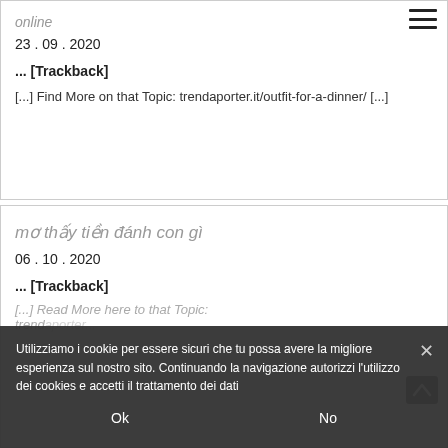online
23 . 09 . 2020
... [Trackback]
[...] Find More on that Topic: trendaporter.it/outfit-for-a-dinner/ [...]
mơ thấy tiền đánh con gì
06 . 10 . 2020
... [Trackback]
[...] Read More here to that Topic: trendaporter...
Utilizziamo i cookie per essere sicuri che tu possa avere la migliore esperienza sul nostro sito. Continuando la navigazione autorizzi l'utilizzo dei cookies e accetti il trattamento dei dati
Ok
No